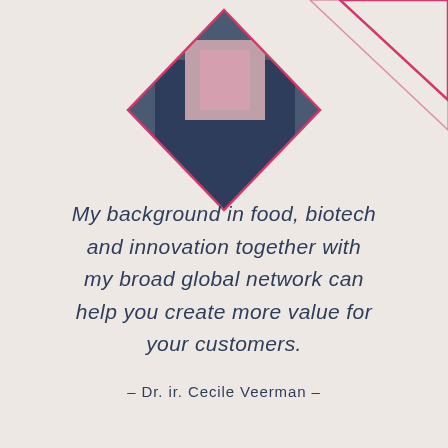[Figure (photo): Portrait photo of Dr. ir. Cecile Veerman in a diamond/hexagonal crop shape at the top of the page, with pink geometric border decorations.]
My background in food, biotech and innovation together with my broad global network can help you create more value for your customers.
– Dr. ir. Cecile Veerman –